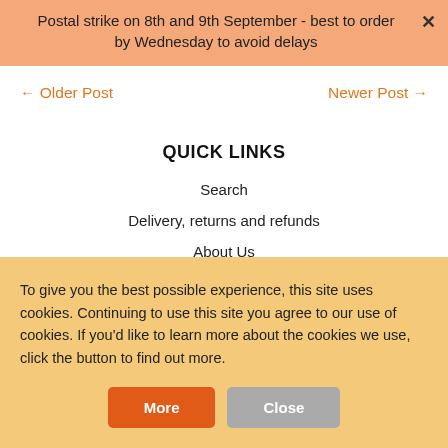Postal strike on 8th and 9th September - best to order by Wednesday to avoid delays
← Older Post
Newer Post →
QUICK LINKS
Search
Delivery, returns and refunds
About Us
Contact us
To give you the best possible experience, this site uses cookies. Continuing to use this site you agree to our use of cookies. If you'd like to learn more about the cookies we use, click the button to find out more.
More
Close